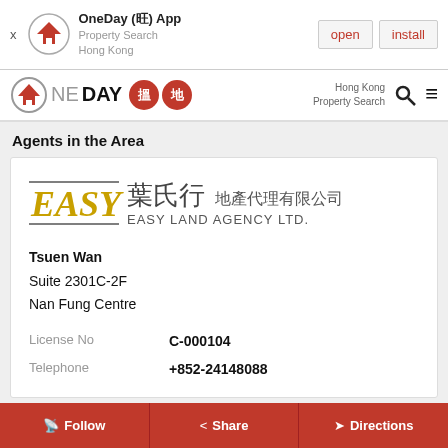[Figure (screenshot): App install banner for OneDay (旺) App - Property Search Hong Kong, with open and install buttons]
[Figure (logo): OneDay 搵地 logo with circle house icon and red Chinese character badges]
Agents in the Area
[Figure (logo): EASY 葉氏行 地產代理有限公司 EASY LAND AGENCY LTD. logo]
Tsuen Wan
Suite 2301C-2F
Nan Fung Centre
License No   C-000104
Telephone   +852-24148088
[Figure (logo): Nourish 英甘物業 partial logo visible at bottom]
Follow   Share   Directions